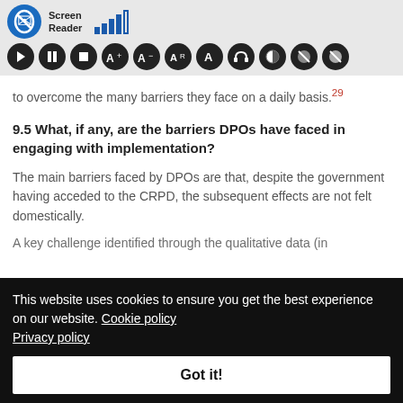[Figure (screenshot): Screen Reader toolbar with signal bars icon and accessibility controls (play, pause, stop, font size increase/decrease/reset, text, audio, contrast, and other accessibility buttons) on a grey background]
to overcome the many barriers they face on a daily basis.29
9.5 What, if any, are the barriers DPOs have faced in engaging with implementation?
The main barriers faced by DPOs are that, despite the government having acceded to the CRPD, the subsequent effects are not felt domestically.
This website uses cookies to ensure you get the best experience on our website. Cookie policy Privacy policy
Got it!